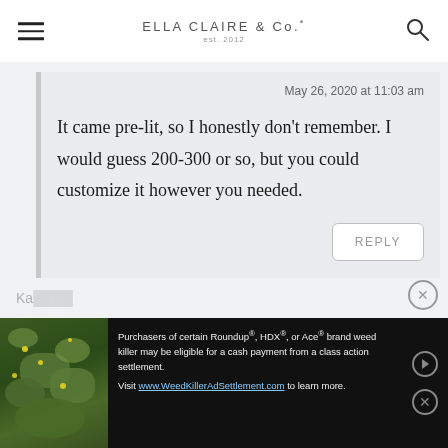ELLA CLAIRE & Co. est. 2012
May 26, 2020 at 11:03 am
It came pre-lit, so I honestly don't remember. I would guess 200-300 or so, but you could customize it however you needed.
REPLY
Ka... am
Purchasers of certain Roundup®, HDX®, or Ace® brand weed killer may be eligible for a cash payment from a class action settlement. Visit www.WeedKillerAdSettlement.com to learn more.